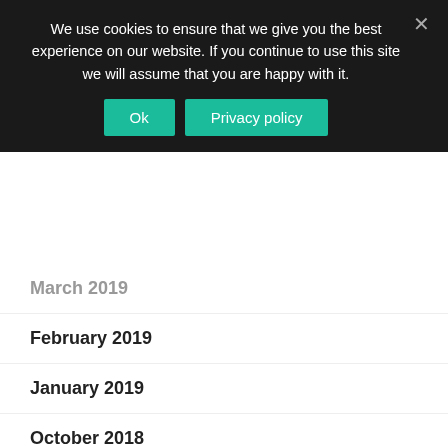We use cookies to ensure that we give you the best experience on our website. If you continue to use this site we will assume that you are happy with it.
March 2019
February 2019
January 2019
October 2018
June 2018
May 2018
April 2018
March 2018
January 2018